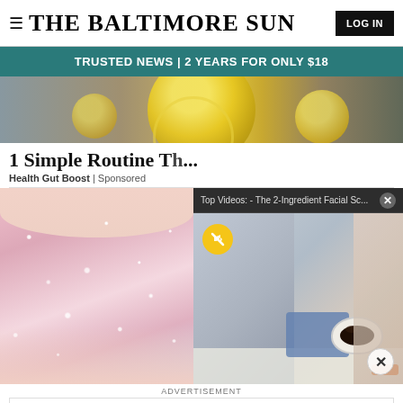THE BALTIMORE SUN | LOG IN
TRUSTED NEWS | 2 YEARS FOR ONLY $18
[Figure (photo): Hands holding a bowl of lemon slices, top-down view]
1 Simple Routine T...
Health Gut Boost | Sponsored
[Figure (screenshot): Video popup overlay: Top Videos - The 2-Ingredient Facial Sc... with a mute icon and person mixing ingredients in a bowl]
[Figure (photo): Close-up of glittery pink fingernails/toenails]
ADVERTISEMENT
[Figure (other): Advertisement banner: Welcome to the most premier Martial Arts Program in Harford County. Best Of badge.]